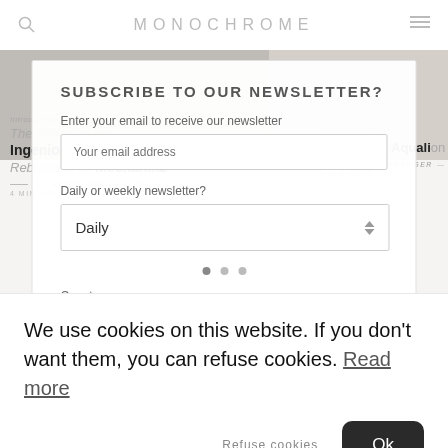MONOCHROME
SUBSCRIBE TO OUR NEWSLETTER?
Enter your email to receive our newsletter
Your email address
Daily or weekly newsletter?
Daily
Country
Introducing The Return of the Ingenious MIH Watch, Rebranded as Mechanik2
BY ROBIN NOOY — 2 WEEKS AGO 4 MIN READ
In-Depth Diving with the Vertex M60 Aqualion
BY DEREKHANGER — 2 WEEKS 9 MIN READ
We use cookies on this website. If you don't want them, you can refuse cookies. Read more
Refuse cookies
Ok